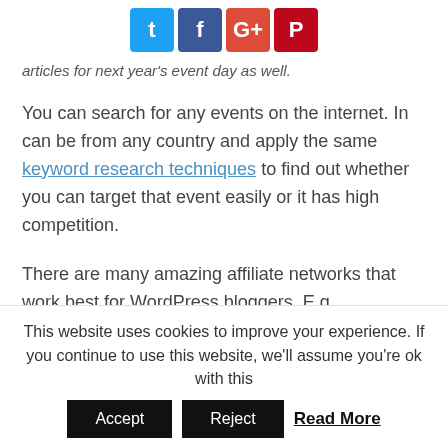[Figure (other): Social sharing icons row: Twitter (blue), Facebook (dark blue), Google+ (red), Pinterest (dark red)]
articles for next year's event day as well.
You can search for any events on the internet. In can be from any country and apply the same keyword research techniques to find out whether you can target that event easily or it has high competition.
There are many amazing affiliate networks that work best for WordPress bloggers. E.g. Shareasale, Avangate, Impact Radius, Viglink and more. You can also join individual affiliate programs shared by each
This website uses cookies to improve your experience. If you continue to use this website, we'll assume you're ok with this
Accept   Reject   Read More